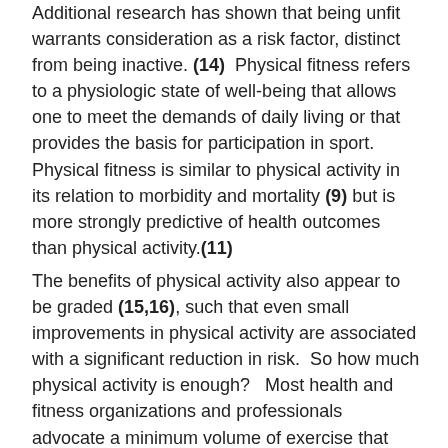Additional research has shown that being unfit warrants consideration as a risk factor, distinct from being inactive. (14) Physical fitness refers to a physiologic state of well-being that allows one to meet the demands of daily living or that provides the basis for participation in sport. Physical fitness is similar to physical activity in its relation to morbidity and mortality (9) but is more strongly predictive of health outcomes than physical activity.(11)
The benefits of physical activity also appear to be graded (15,16), such that even small improvements in physical activity are associated with a significant reduction in risk. So how much physical activity is enough? Most health and fitness organizations and professionals advocate a minimum volume of exercise that expends 1000 kcal per week. For example, cycling at 15 mph for 90-120 minutes will burn about 1000 calories. That could be a tall order for many people. Recently, investigators have postulated that even lower levels of weekly energy expenditure may be associated with health benefits.